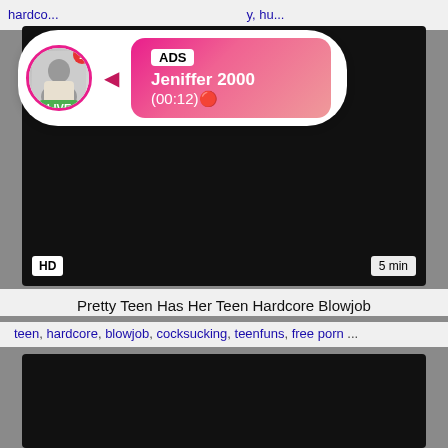hardcore ... y, hu...
[Figure (screenshot): Dark video thumbnail with HD badge and 5 min duration label, with ADS overlay showing profile picture, LIVE badge, notification dot, and Jeniffer 2000 (00:12) info box]
Pretty Teen Has Her Teen Hardcore Blowjob
teen, hardcore, blowjob, cocksucking, teenfuns, free porn ...
[Figure (screenshot): Dark video thumbnail, second video]